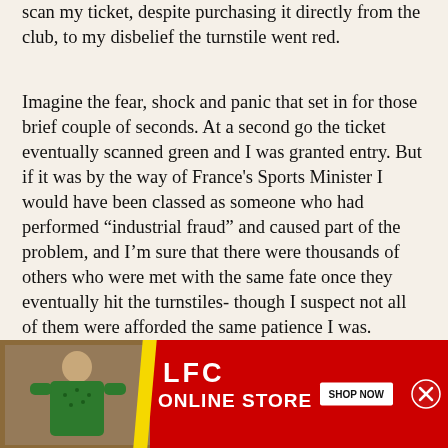scan my ticket, despite purchasing it directly from the club, to my disbelief the turnstile went red.
Imagine the fear, shock and panic that set in for those brief couple of seconds. At a second go the ticket eventually scanned green and I was granted entry. But if it was by the way of France's Sports Minister I would have been classed as someone who had performed "industrial fraud" and caused part of the problem, and I'm sure that there were thousands of others who were met with the same fate once they eventually hit the turnstiles- though I suspect not all of them were afforded the same patience I was.
At this point, I'd say, despite what I had witnessed,
[Figure (advertisement): LFC Online Store advertisement banner with red background, yellow stripe, person in green outfit, LFC ONLINE STORE text, and SHOP NOW button]